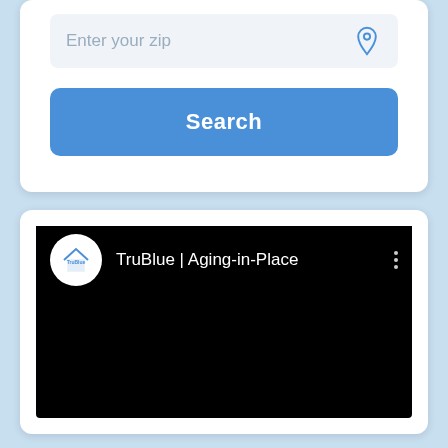[Figure (screenshot): Zip code input field with placeholder text 'Enter your zip' and a location pin icon on the right]
[Figure (screenshot): Blue 'Search' button]
[Figure (screenshot): YouTube-style video player showing TruBlue | Aging-in-Place channel with black video area]